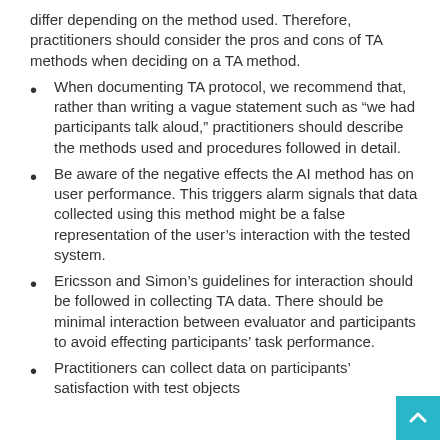differ depending on the method used. Therefore, practitioners should consider the pros and cons of TA methods when deciding on a TA method.
When documenting TA protocol, we recommend that, rather than writing a vague statement such as “we had participants talk aloud,” practitioners should describe the methods used and procedures followed in detail.
Be aware of the negative effects the AI method has on user performance. This triggers alarm signals that data collected using this method might be a false representation of the user’s interaction with the tested system.
Ericsson and Simon’s guidelines for interaction should be followed in collecting TA data. There should be minimal interaction between evaluator and participants to avoid effecting participants’ task performance.
Practitioners can collect data on participants’ satisfaction with test objects